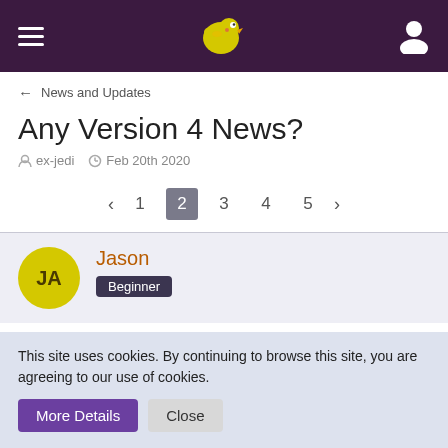Navigation header with hamburger menu, bird logo, and user icon
← News and Updates
Any Version 4 News?
ex-jedi  Feb 20th 2020
< 1 2 3 4 5 >
JA Jason Beginner
May 5th 2020 👍 +5
This site uses cookies. By continuing to browse this site, you are agreeing to our use of cookies. More Details  Close